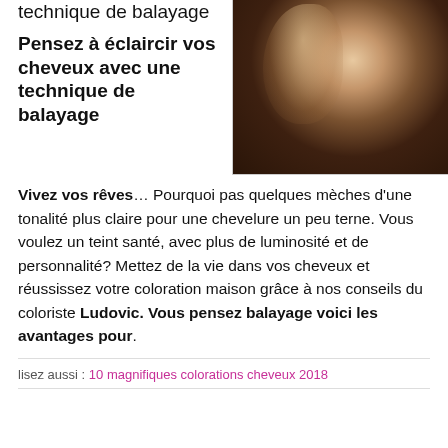technique de balayage
[Figure (photo): Woman with balayage highlighted hair, dark brown with lighter highlights, casual pose]
Pensez à éclaircir vos cheveux avec une technique de balayage
Vivez vos rêves… Pourquoi pas quelques mèches d'une tonalité plus claire pour une chevelure un peu terne. Vous voulez un teint santé, avec plus de luminosité et de personnalité? Mettez de la vie dans vos cheveux et réussissez votre coloration maison grâce à nos conseils du coloriste Ludovic. Vous pensez balayage voici les avantages pour.
lisez aussi : 10 magnifiques colorations cheveux 2018